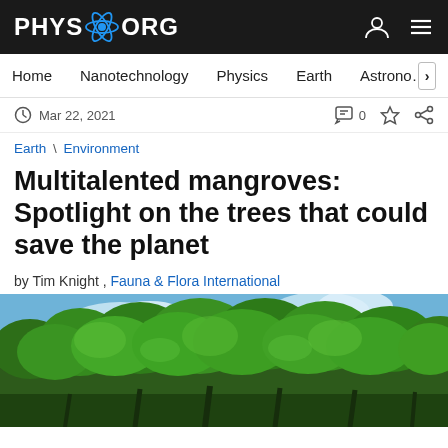PHYS.ORG
Home | Nanotechnology | Physics | Earth | Astronomy
Mar 22, 2021  0
Earth \ Environment
Multitalented mangroves: Spotlight on the trees that could save the planet
by Tim Knight , Fauna & Flora International
[Figure (photo): Dense green tree canopy (mangroves) photographed from below against a blue sky with clouds]